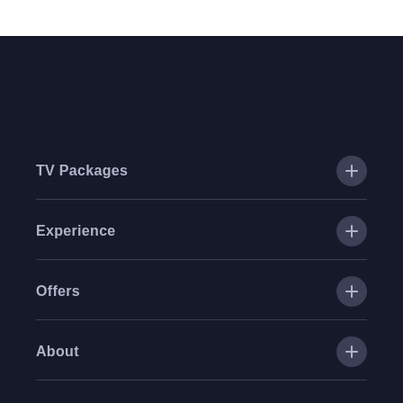TV Packages
Experience
Offers
About
Location
ARC Satellite